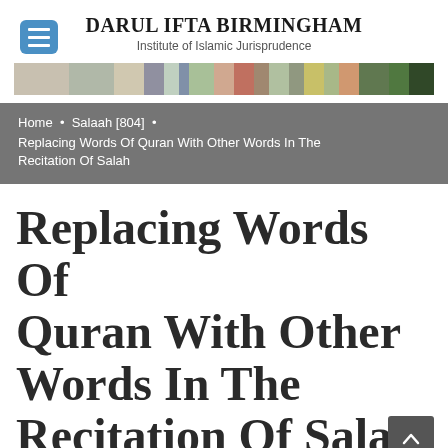[Figure (logo): Menu/hamburger icon button in blue rounded square]
DARUL IFTA BIRMINGHAM
Institute of Islamic Jurisprudence
[Figure (photo): Decorative banner image with colorful patterns]
Home • Salaah [804] • Replacing Words Of Quran With Other Words In The Recitation Of Salah
Replacing Words Of Quran With Other Words In The Recitation Of Salah